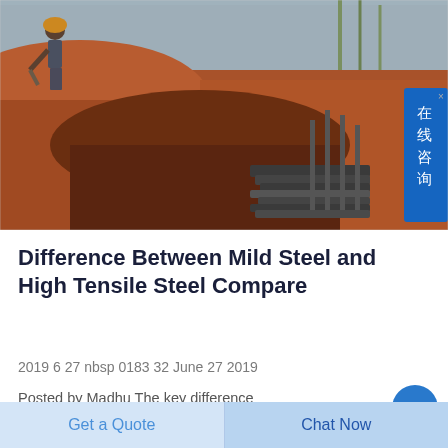[Figure (photo): Construction site photo showing a large excavated trench with red/brown earth, steel reinforcement bars stacked in the trench, and a worker visible in the background against a grey concrete wall. A blue Chinese-language chat widget is overlaid on the right side of the image.]
Difference Between Mild Steel and High Tensile Steel Compare
2019 6 27 nbsp 0183 32 June 27 2019
Posted by Madhu The key difference